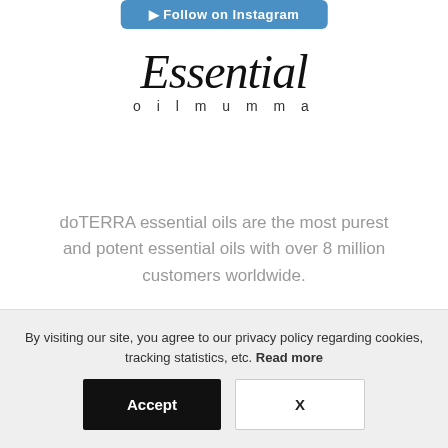[Figure (screenshot): Blue button partially visible at top: Follow on Instagram]
[Figure (logo): Essential oilmumma logo in script font with 'oilmumma' in spaced capitals below]
doTERRA essential oils are the most purest and potent essential oils with over 8 million customers worldwide.
[Figure (infographic): Three social icons: Facebook circle, Instagram circle, envelope/email icon]
MENU
By visiting our site, you agree to our privacy policy regarding cookies, tracking statistics, etc. Read more
[Figure (screenshot): Two buttons: Accept (black) and X (white/outlined)]